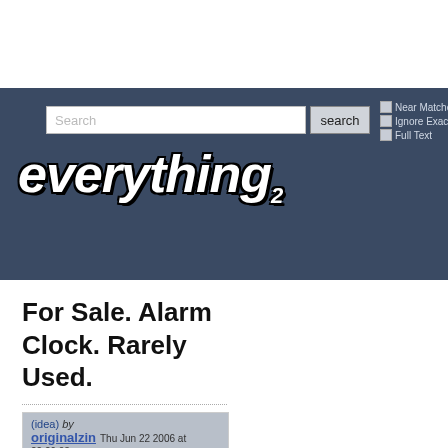[Figure (screenshot): Everything2 website header with search bar, search button, Near Matches / Ignore Exact / Full Text checkboxes, and the Everything2 logo in white italic bold text on dark blue background]
For Sale. Alarm Clock. Rarely Used.
(idea) by originalzin  Thu Jun 22 2006 at 22:29:03
People who say they